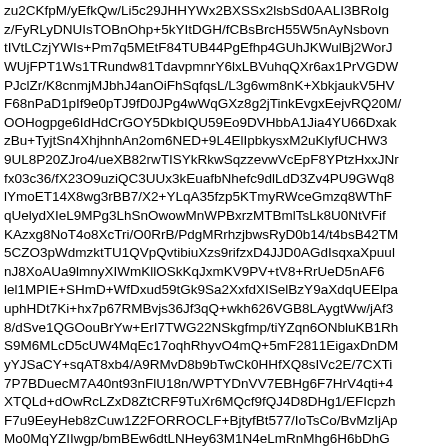zu2CKfpM/yEfkQw/Li5c29JHHYWx2BXSSx2lsbSd0AALI3BRoIgz/FyRLyDNUIsTOBnOhp+5kYItDGH/fCBsBrcH55W5nAyNsbovntIVtLCzjYWIs+Pm7q5MEtF84TUB44PgEfhp4GUhJKWulBj2WorJWUjFPT1Ws1TRundw81TdavpmnrY6lxLBVuhqQXr6ax1PrVGDWPJclZr/K8cnmjMJbhJ4anOiFhSqfqsL/L3g6wm8nK+XbkjaukV5HVF68nPaD1pIf9e0pTJ9fD0JPg4wWqGXz8g2jTinkEvgxEejvRQ20MAOOHogpge6IdHdCrGOY5DkbIQU59Eo9DVHbbA1Jia4YU66DxakzBu+TyjtSn4XhjhnhAn2om6NED+9L4ElIpbkysxM2uKlyfUCHW39UL8P20ZJro4/ueXB82rwTISYkRkwSqzzevwVcEpF8YPtzHxxJNrfx03c36/fX23O9uziQC3UUx3kEuafbNhefc9dlLdD3Zv4PU9GWq8IlYmoET14X8wg3rBB7/X2+YLqA35fzp5KTmyRWceGmzq8WThFqUelydXIeL9MPg3LhSnOwowMnWPBxrzMTBmlTsLk8U0NtVFifKAzxg8NoT4o8XcTri/O0RrB/PdgMRrhzjbwsRyD0b14/t4bsB42TM5CZO3pWdmzktTU1QVpQvtibiuXzs9rifzxD4JJD0AGdIsqxaXpuulnJ8XoAUa9lmnyXIWmKllOSkKqJxmKV9PV+tV8+RrUeD5nAF67lel1MPIE+SHmD+WfDxud59tGk9Sa2XxfdXISelBzY9aXdqUEElpauphHDt7Ki+hx7p67RMBvjs36Jf3qQ+wkh626VGB8LAygtWw/jAf38/dSve1QGOouBrYw+ErI7TWG22NSkgfmp/tiYZqn6ONbluKB1RhS9M6MLcD5cUW4MqEc17oqhRhyvO4mQ+5mF2811EigaxDnDMyYJSaCY+sqAT8xb4/A9RMvD8b9bTwCk0HHfXQ8sIVc2E/7CXTi7P7BDuecM7A40nt93nFlU18n/WPTYDnVV7EBHg6F7HrV4qti+4XTQLd+dOwRcLZxD8ZtCRF9TuXr6MQcf9fQJ4D8DHg1/EFIcpzhF7u9EeyHeb8zCuw1Z2FORROCLF+BjtyfBt577/IoTsCo/BvMzIjApMo0MqYZIIwgp/bmBEw6dtLNHey63M1N4eLmRnMhg6H6bDhGZYunEf/i+fERD4xiZ2qwH18cpEqCYpuWQq3aRqSHpC06VqpcU8s